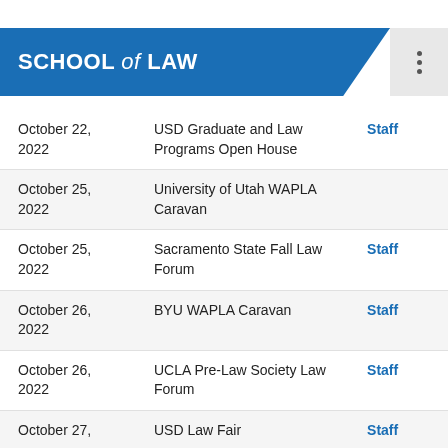SCHOOL of LAW
| Date | Event | Who |
| --- | --- | --- |
| October 22, 2022 | USD Graduate and Law Programs Open House | Staff |
| October 25, 2022 | University of Utah WAPLA Caravan |  |
| October 25, 2022 | Sacramento State Fall Law Forum | Staff |
| October 26, 2022 | BYU WAPLA Caravan | Staff |
| October 26, 2022 | UCLA Pre-Law Society Law Forum | Staff |
| October 27, | USD Law Fair | Staff |